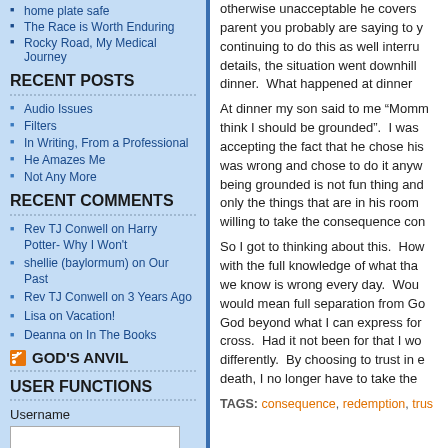home plate safe
The Race is Worth Enduring
Rocky Road, My Medical Journey
RECENT POSTS
Audio Issues
Filters
In Writing, From a Professional
He Amazes Me
Not Any More
RECENT COMMENTS
Rev TJ Conwell on Harry Potter- Why I Won't
shellie (baylormum) on Our Past
Rev TJ Conwell on 3 Years Ago
Lisa on Vacation!
Deanna on In The Books
GOD'S ANVIL
USER FUNCTIONS
Username
otherwise unacceptable he covers... parent you probably are saying to y... continuing to do this as well interru... details, the situation went downhill... dinner. What happened at dinner...
At dinner my son said to me “Momm... think I should be grounded”. I was... accepting the fact that he chose his... was wrong and chose to do it anyw... being grounded is not fun thing and... only the things that are in his room... willing to take the consequence con...
So I got to thinking about this. How... with the full knowledge of what tha... we know is wrong every day. Wou... would mean full separation from Go... God beyond what I can express for... cross. Had it not been for that I wo... differently. By choosing to trust in e... death, I no longer have to take the...
TAGS: consequence, redemption, trus...